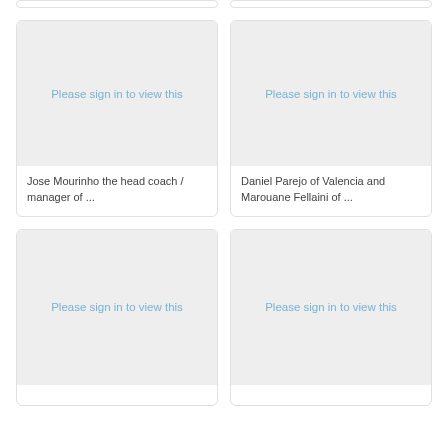[Figure (other): Partial card at top left, cropped]
[Figure (other): Partial card at top right, cropped]
[Figure (photo): Please sign in to view this - card with image placeholder for Jose Mourinho]
Jose Mourinho the head coach / manager of ...
[Figure (photo): Please sign in to view this - card with image placeholder for Daniel Parejo and Marouane Fellaini]
Daniel Parejo of Valencia and Marouane Fellaini of ...
[Figure (photo): Please sign in to view this - bottom left card]
[Figure (photo): Please sign in to view this - bottom right card]